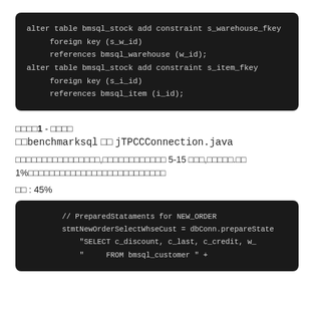[Figure (screenshot): Code block showing SQL ALTER TABLE statements for bmsql_stock table adding foreign key constraints for s_warehouse_fkey and s_item_fkey.]
섹션1 - 거래명
파일benchmarksql 파일 jTPCCConnection.java
신규주문거래처리합니다,웨어하우스수량은 5-15 개이며,고객에게.대해 1%할인율을제공하며이거래는새로운구매주문을생성합니다
비율 : 45%
[Figure (screenshot): Code block showing Java PreparedStatements for NEW_ORDER: stmtNewOrderSelectWhseCust = dbConn.prepareState with SELECT c_discount, c_last, c_credit, w_ FROM bmsql_customer +]